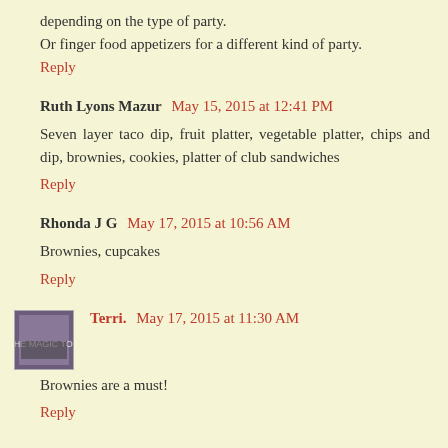depending on the type of party.
Or finger food appetizers for a different kind of party.
Reply
Ruth Lyons Mazur  May 15, 2015 at 12:41 PM
Seven layer taco dip, fruit platter, vegetable platter, chips and dip, brownies, cookies, platter of club sandwiches
Reply
Rhonda J G  May 17, 2015 at 10:56 AM
Brownies, cupcakes
Reply
Terri.  May 17, 2015 at 11:30 AM
Brownies are a must!
Reply